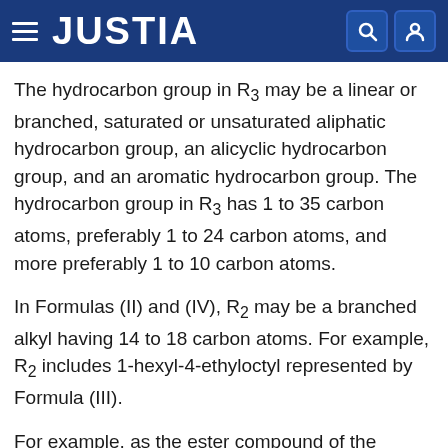JUSTIA
The hydrocarbon group in R3 may be a linear or branched, saturated or unsaturated aliphatic hydrocarbon group, an alicyclic hydrocarbon group, and an aromatic hydrocarbon group. The hydrocarbon group in R3 has 1 to 35 carbon atoms, preferably 1 to 24 carbon atoms, and more preferably 1 to 10 carbon atoms.
In Formulas (II) and (IV), R2 may be a branched alkyl having 14 to 18 carbon atoms. For example, R2 includes 1-hexyl-4-ethyloctyl represented by Formula (III).
For example, as the ester compound of the present invention, a compound represented by Formula (V) may be exemplified.
Due to the above-mentioned structure, the ester